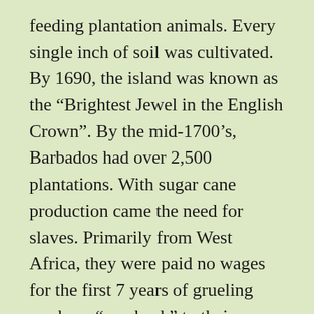feeding plantation animals. Every single inch of soil was cultivated. By 1690, the island was known as the “Brightest Jewel in the English Crown”. By the mid-1700’s, Barbados had over 2,500 plantations. With sugar cane production came the need for slaves. Primarily from West Africa, they were paid no wages for the first 7 years of grueling work, as “pay back” to their owners for the cost of boat passage to the island. Barbados remained an English colony until being granted independence in 1966. Tourism is now the dominant industry.
Did you know that George Washington (our first president) came to Barbados in 1751 as an 18 year old serving in the English military? He